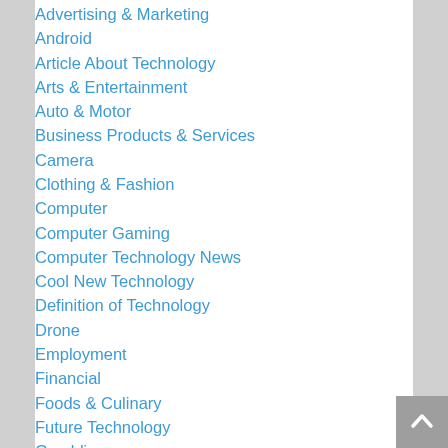Advertising & Marketing
Android
Article About Technology
Arts & Entertainment
Auto & Motor
Business Products & Services
Camera
Clothing & Fashion
Computer
Computer Gaming
Computer Technology News
Cool New Technology
Definition of Technology
Drone
Employment
Financial
Foods & Culinary
Future Technology
Gambling
GPS
Handphone
Health & Fitness